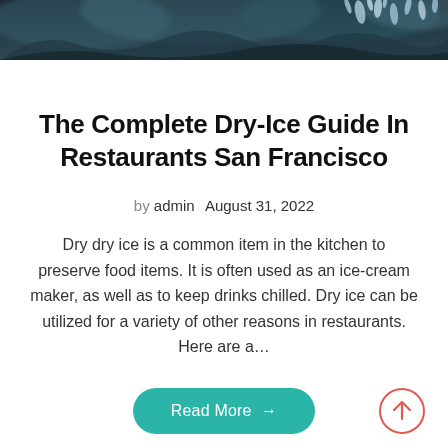[Figure (photo): A dark moody close-up photo of dry ice vapor/smoke with ice crystals, used as a hero banner image at the top of the page.]
The Complete Dry-Ice Guide In Restaurants San Francisco
by admin  August 31, 2022
Dry dry ice is a common item in the kitchen to preserve food items. It is often used as an ice-cream maker, as well as to keep drinks chilled. Dry ice can be utilized for a variety of other reasons in restaurants. Here are a...
Read More →